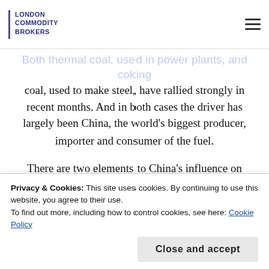LONDON COMMODITY BROKERS
...oying strong gains amid rising demand
Both thermal coal, used in power plants, and coking coal, used to make steel, have rallied strongly in recent months. And in both cases the driver has largely been China, the world's biggest producer, importer and consumer of the fuel.
There are two elements to China's influence on seaborne coal markets in Asia; robust demand as the Chinese economy rebounds from the coronavirus pandemic; and Beijing's policy choice to ban imports from Australia. Full Story...
Privacy & Cookies: This site uses cookies. By continuing to use this website, you agree to their use.
To find out more, including how to control cookies, see here: Cookie Policy